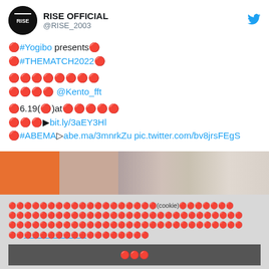RISE OFFICIAL @RISE_2003
🔴#Yogibo presents🔴
🔴#THEMATCH2022🔴

🔴🔴🔴🔴🔴🔴🔴🔴
🔴🔴🔴🔴 @Kento_fft

🔴6.19(🔴)at🔴🔴🔴🔴🔴
🔴🔴🔴▶bit.ly/3aEY3Hl
🔴#ABEMA▷abe.ma/3mnrkZu pic.twitter.com/bv8jrsFEgS
[Figure (screenshot): Partially visible image from tweet showing blurred scene with orange and neutral tones]
🔴🔴🔴🔴🔴🔴🔴🔴🔴🔴🔴🔴🔴🔴🔴🔴🔴🔴🔴(cookie)🔴🔴🔴🔴🔴🔴🔴
🔴🔴🔴🔴🔴🔴🔴🔴🔴🔴🔴🔴🔴🔴🔴🔴🔴🔴🔴🔴🔴🔴🔴🔴🔴🔴🔴🔴🔴🔴
🔴🔴🔴🔴🔴🔴🔴🔴🔴🔴🔴🔴🔴🔴🔴🔴🔴🔴🔴🔴🔴🔴🔴🔴🔴🔴🔴🔴🔴🔴
🔴🔴🔴🔴🔴🔴🔴🔴🔴🔴🔴🔴🔴🔴🔴🔴
🔴🔴🔴